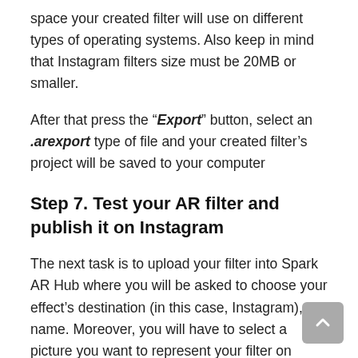space your created filter will use on different types of operating systems. Also keep in mind that Instagram filters size must be 20MB or smaller.
After that press the “Export” button, select an .arexport type of file and your created filter’s project will be saved to your computer
Step 7. Test your AR filter and publish it on Instagram
The next task is to upload your filter into Spark AR Hub where you will be asked to choose your effect’s destination (in this case, Instagram), its name. Moreover, you will have to select a picture you want to represent your filter on Instagram.